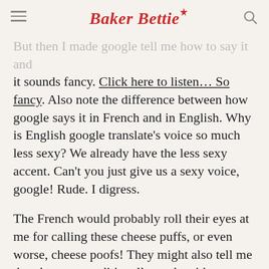Baker Bettie
But then I made google tell me how to say it and it sounds fancy. Click here to listen… So fancy. Also note the difference between how google says it in French and in English. Why is English google translate's voice so much less sexy? We already have the less sexy accent. Can't you just give us a sexy voice, google! Rude. I digress.

The French would probably roll their eyes at me for calling these cheese puffs, or even worse, cheese poofs! They might also tell me that these are traditionally made with gruyere cheese. Okay. I know! I know! But I had sharp